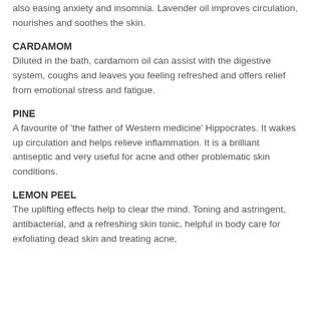also easing anxiety and insomnia. Lavender oil improves circulation, nourishes and soothes the skin.
CARDAMOM
Diluted in the bath, cardamom oil can assist with the digestive system, coughs and leaves you feeling refreshed and offers relief from emotional stress and fatigue.
PINE
A favourite of ‘the father of Western medicine’ Hippocrates. It wakes up circulation and helps relieve inflammation. It is a brilliant antiseptic and very useful for acne and other problematic skin conditions.
LEMON PEEL
The uplifting effects help to clear the mind. Toning and astringent, antibacterial, and a refreshing skin tonic, helpful in body care for exfoliating dead skin and treating acne, oils, and giving a more even skin tone daily at skin